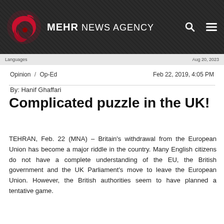[Figure (logo): Mehr News Agency logo — red stylized swirl/flame on dark background with 'MEHR NEWS AGENCY' text]
Opinion / Op-Ed    Feb 22, 2019, 4:05 PM
By: Hanif Ghaffari
Complicated puzzle in the UK!
TEHRAN, Feb. 22 (MNA) – Britain's withdrawal from the European Union has become a major riddle in the country. Many English citizens do not have a complete understanding of the EU, the British government and the UK Parliament's move to leave the European Union. However, the British authorities seem to have planned a tentative game.